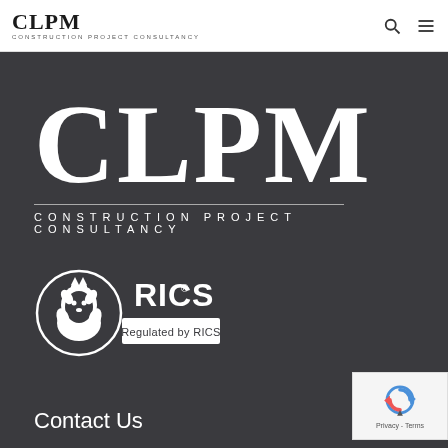[Figure (logo): CLPM Construction Project Consultancy small logo in navigation bar]
[Figure (logo): CLPM Construction Project Consultancy large white logo on dark background]
[Figure (logo): RICS Regulated by RICS badge with lion emblem]
Contact Us
[Figure (other): reCAPTCHA widget with Privacy - Terms text]